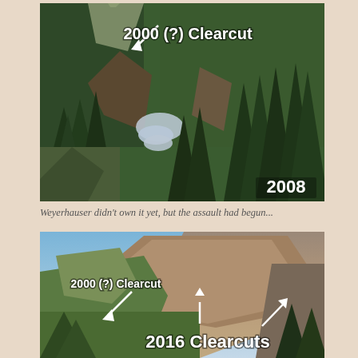[Figure (photo): Aerial photograph of a forested mountain canyon with a river running through it. White text overlay reads '2000 (?) Clearcut' with an arrow pointing to a cleared area on the hillside. Bottom right corner shows year '2008'. Dense evergreen trees fill the foreground and background.]
Weyerhauser didn't own it yet, but the assault had begun...
[Figure (photo): Photograph of a mountain hillside showing significant logging/clearcut damage. Text overlays: '2000 (?) Clearcut' in upper left with a downward arrow, and '2016 Clearcuts' at the bottom center with two arrows pointing up to bare hillside areas. The upper mountain shows extensive brown bare ground from recent clearcutting, contrasting with green vegetation in the foreground.]